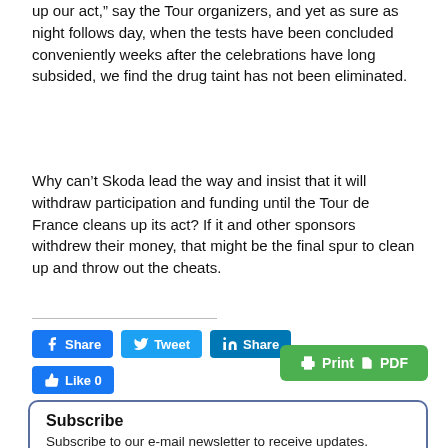up our act," say the Tour organizers, and yet as sure as night follows day, when the tests have been concluded conveniently weeks after the celebrations have long subsided, we find the drug taint has not been eliminated.
Why can’t Skoda lead the way and insist that it will withdraw participation and funding until the Tour de France cleans up its act? If it and other sponsors withdrew their money, that might be the final spur to clean up and throw out the cheats.
[Figure (other): Social sharing buttons: Facebook Share, Twitter Tweet, LinkedIn Share, Like 0, and a green Print/PDF button]
Subscribe
Subscribe to our e-mail newsletter to receive updates.